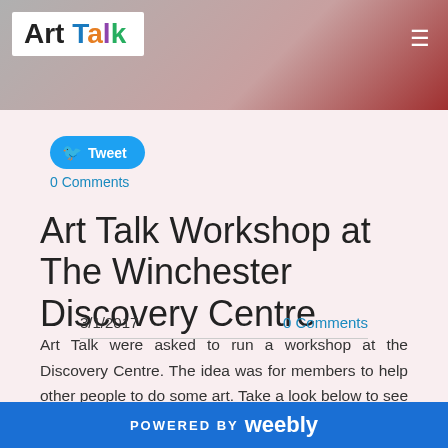[Figure (photo): Header image strip with Art Talk logo on white background, hamburger menu icon, and a partial photo of craft supplies in background]
Tweet
0 Comments
Art Talk Workshop at The Winchester Discovery Centre
3/1/2017
0 Comments
Art Talk were asked to run a workshop at the Discovery Centre. The idea was for members to help other people to do some art. Take a look below to see what happened.
POWERED BY weebly